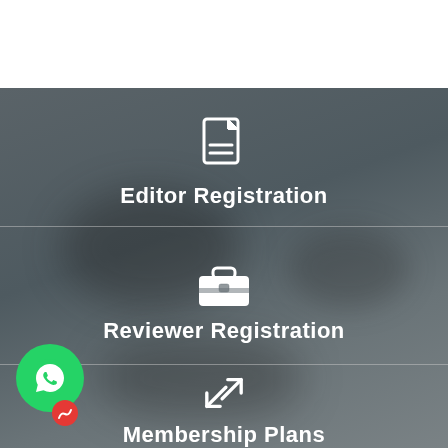[Figure (screenshot): Navigation menu screen with dark grey blurred background showing three menu items: Editor Registration (document icon), Reviewer Registration (briefcase icon), Membership Plans (expand arrows icon), with a WhatsApp button in lower left corner.]
Editor Registration
Reviewer Registration
Membership Plans